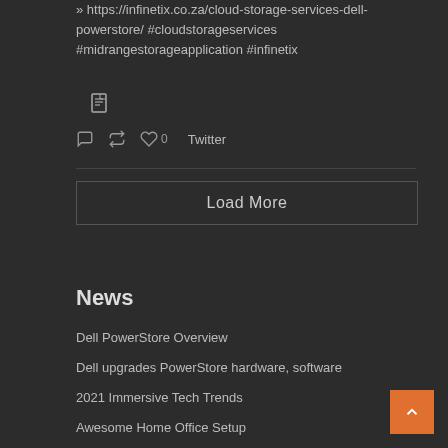» https://infinetix.co.za/cloud-storage-services-dell-powerstore/ #cloudstorageservices #midrangestorageapplication #infinetix
[Figure (illustration): Small image/document icon]
Twitter
Load More
News
Dell PowerStore Overview
Dell upgrades PowerStore hardware, software
2021 Immersive Tech Trends
Awesome Home Office Setup